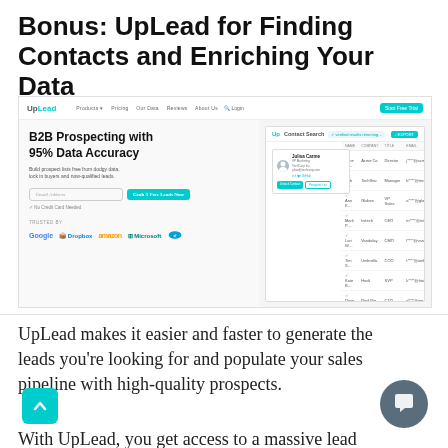Bonus: UpLead for Finding Contacts and Enriching Your Data
[Figure (screenshot): UpLead website homepage screenshot showing B2B Prospecting with 95% Data Accuracy hero text, email input, Grab 5 Free Leads Now button, trusted by Google Dropbox Amazon Microsoft Salesforce logos, and a contact search results panel on the right.]
UpLead makes it easier and faster to generate the leads you’re looking for and populate your sales pipeline with high-quality prospects.
With UpLead, you get access to a massive lead